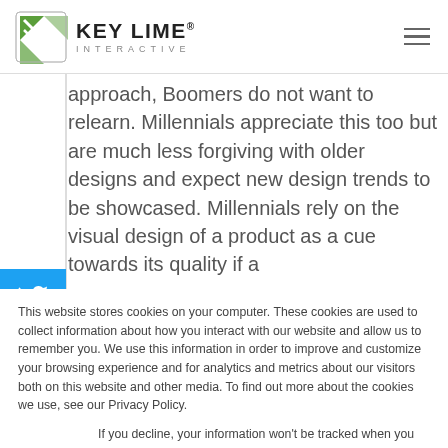Key Lime Interactive
approach, Boomers do not want to relearn. Millennials appreciate this too but are much less forgiving with older designs and expect new design trends to be showcased. Millennials rely on the visual design of a product as a cue towards its quality if a
This website stores cookies on your computer. These cookies are used to collect information about how you interact with our website and allow us to remember you. We use this information in order to improve and customize your browsing experience and for analytics and metrics about our visitors both on this website and other media. To find out more about the cookies we use, see our Privacy Policy.
If you decline, your information won't be tracked when you visit this website. A single cookie will be used in your browser to remember your preference not to be tracked.